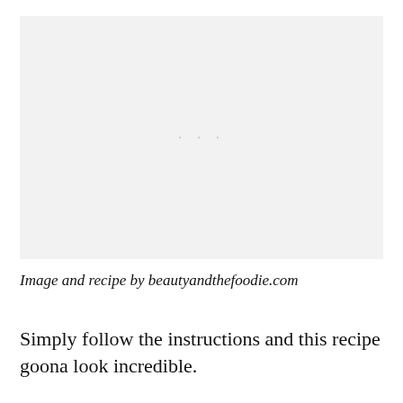[Figure (photo): Placeholder image area (light gray background with dots), representing a food photo from beautyandthefoodie.com]
Image and recipe by beautyandthefoodie.com
Simply follow the instructions and this recipe goona look incredible.